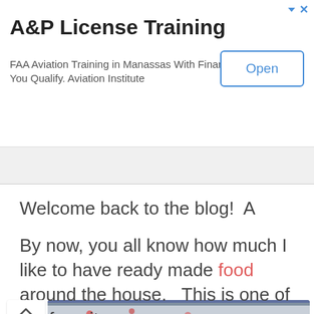[Figure (screenshot): Advertisement banner for A&P License Training. Title: 'A&P License Training'. Description: 'FAA Aviation Training in Manassas With Financial Aid If You Qualify. Aviation Institute'. Open button on the right. Navigation icons (arrow and X) at top right.]
[Figure (photo): A narrow horizontal strip showing a partial image (food or colorful objects) partially visible behind a chevron/up-arrow button on the left side.]
Welcome back to the blog!  A
By now, you all know how much I like to have ready made food around the house.   This is one of my favorites.
I love making waffles in large quantities and freezing them in individual packages so they are easy to grab.